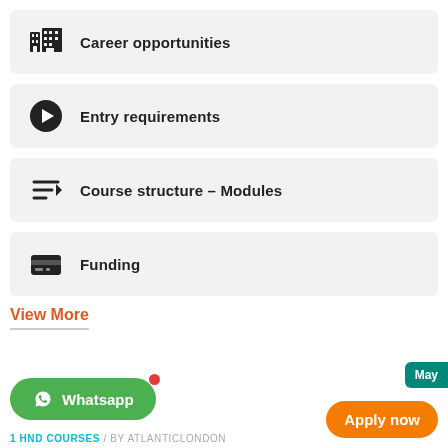Career opportunities
Entry requirements
Course structure – Modules
Funding
View More
Whatsapp
May
Apply now
1 HND COURSES / BY ATLANTICLONDON